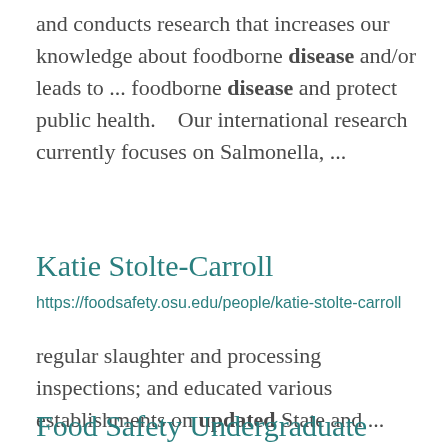and conducts research that increases our knowledge about foodborne disease and/or leads to ... foodborne disease and protect public health.    Our international research currently focuses on Salmonella, ...
Katie Stolte-Carroll
https://foodsafety.osu.edu/people/katie-stolte-carroll
regular slaughter and processing inspections; and educated various establishments on updated State and ...
Food Safety Undergraduate